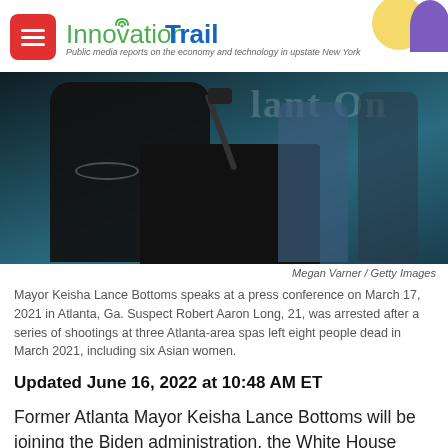InnovationTrail — Public media reports on the economy and technology in upstate New York
[Figure (photo): Mayor Keisha Lance Bottoms speaking at a podium/lectern at a press conference, with officers in background, teal backdrop with partial text visible.]
Megan Varner / Getty Images
Mayor Keisha Lance Bottoms speaks at a press conference on March 17, 2021 in Atlanta, Ga. Suspect Robert Aaron Long, 21, was arrested after a series of shootings at three Atlanta-area spas left eight people dead in March 2021, including six Asian women.
Updated June 16, 2022 at 10:48 AM ET
Former Atlanta Mayor Keisha Lance Bottoms will be joining the Biden administration, the White House announced Wednesday, after previously